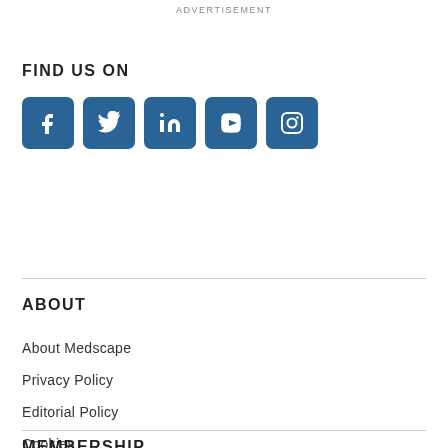ADVERTISEMENT
FIND US ON
[Figure (other): Social media icons: Facebook, Twitter, LinkedIn, YouTube, Instagram — dark teal square icon buttons]
ABOUT
About Medscape
Privacy Policy
Editorial Policy
Cookies
Terms of Use
Advertising Policy
Help Center
MEMBERSHIP